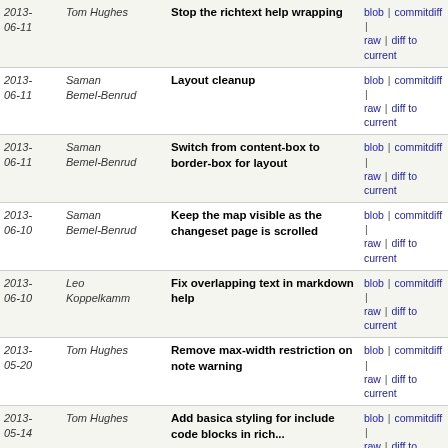| Date | Author | Message | Links |
| --- | --- | --- | --- |
| 2013-06-11 | Tom Hughes | Stop the richtext help wrapping | blob | commitdiff | raw | diff to current |
| 2013-06-11 | Saman Bemel-Benrud | Layout cleanup | blob | commitdiff | raw | diff to current |
| 2013-06-11 | Saman Bemel-Benrud | Switch from content-box to border-box for layout | blob | commitdiff | raw | diff to current |
| 2013-06-10 | Saman Bemel-Benrud | Keep the map visible as the changeset page is scrolled | blob | commitdiff | raw | diff to current |
| 2013-06-10 | Leo Koppelkamm | Fix overlapping text in markdown help | blob | commitdiff | raw | diff to current |
| 2013-05-20 | Tom Hughes | Remove max-width restriction on note warning | blob | commitdiff | raw | diff to current |
| 2013-05-14 | Tom Hughes | Add basica styling for include code blocks in rich... | blob | commitdiff | raw | diff to current |
| 2013-05-13 | John Firebaugh | Add SotM ads | blob | commitdiff | raw | diff to current |
| 2013-05-12 | Leo Koppelkamm | Fix problem with heart icon ( #266 ) | blob | commitdiff | raw | diff to current |
| 2013-05-12 | Leo Koppelkamm | Only show scrollbars if needed in Markdown input | blob | commitdiff | raw | diff to current |